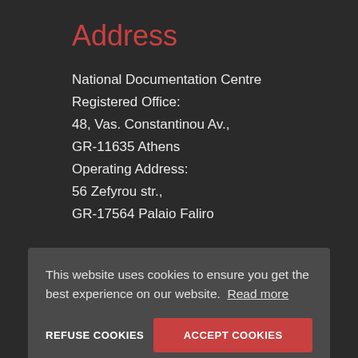Address
National Documentation Centre
Registered Office:
48, Vas. Constantinou Av.,
GR-11635 Athens
Operating Address:
56 Zefyrou str.,
GR-17564 Palaio Faliro
Contact EKT
This website uses cookies to ensure you get the best experience on our website.  Read more
REFUSE COOKIES    ACCEPT COOKIES